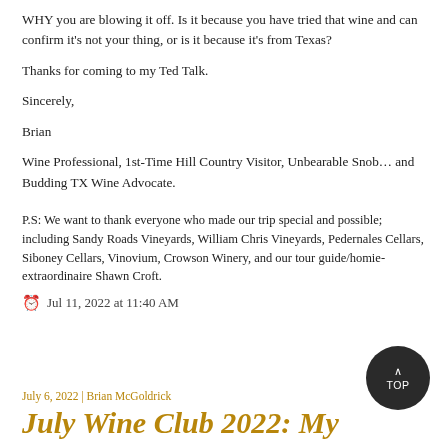WHY you are blowing it off. Is it because you have tried that wine and can confirm it's not your thing, or is it because it's from Texas?
Thanks for coming to my Ted Talk.
Sincerely,
Brian
Wine Professional, 1st-Time Hill Country Visitor, Unbearable Snob… and Budding TX Wine Advocate.
P.S: We want to thank everyone who made our trip special and possible; including Sandy Roads Vineyards, William Chris Vineyards, Pedernales Cellars, Siboney Cellars, Vinovium, Crowson Winery, and our tour guide/homie-extraordinaire Shawn Croft.
Jul 11, 2022 at 11:40 AM
July 6, 2022 | Brian McGoldrick
July Wine Club 2022: My